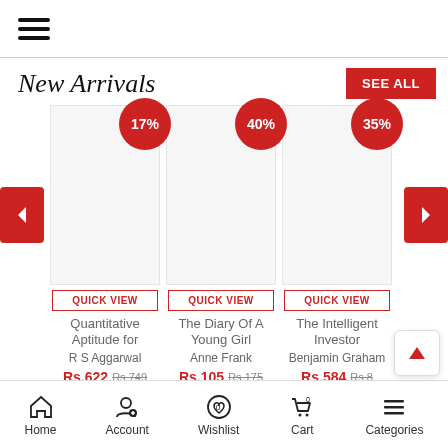☰ (hamburger menu)
New Arrivals
[Figure (screenshot): Book card: Quantitative Aptitude for, 17% discount badge, QUICK VIEW button, author R S Aggarwal, price Rs.622 (was Rs.749)]
[Figure (screenshot): Book card: The Diary Of A Young Girl, 40% discount badge, QUICK VIEW button, author Anne Frank, price Rs.105 (was Rs.175)]
[Figure (screenshot): Book card: The Intelligent Investor, 35% discount badge, QUICK VIEW button, author Benjamin Graham, price Rs.584 (was Rs.8...)]
Home | Account | Wishlist | Cart | Categories